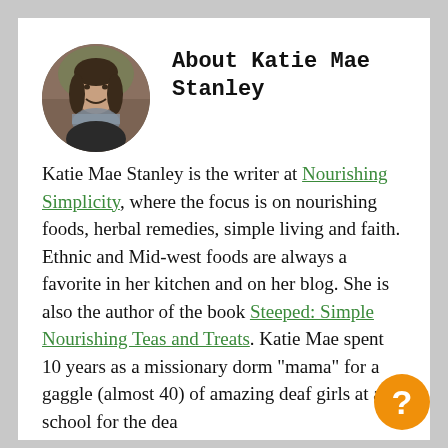[Figure (photo): Circular profile photo of Katie Mae Stanley, a woman smiling outdoors with dark hair and a scarf]
About Katie Mae Stanley
Katie Mae Stanley is the writer at Nourishing Simplicity, where the focus is on nourishing foods, herbal remedies, simple living and faith. Ethnic and Mid-west foods are always a favorite in her kitchen and on her blog. She is also the author of the book Steeped: Simple Nourishing Teas and Treats. Katie Mae spent 10 years as a missionary dorm "mama" for a gaggle (almost 40) of amazing deaf girls at a school for the deaf